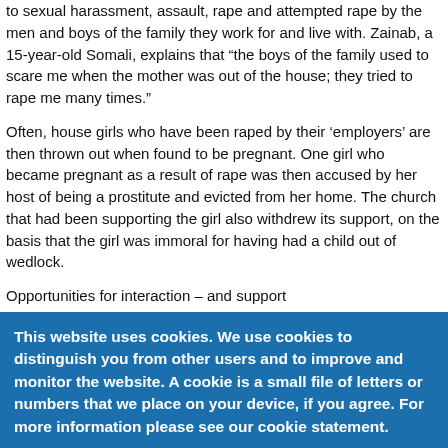to sexual harassment, assault, rape and attempted rape by the men and boys of the family they work for and live with. Zainab, a 15-year-old Somali, explains that “the boys of the family used to scare me when the mother was out of the house; they tried to rape me many times.”
Often, house girls who have been raped by their ‘employers’ are then thrown out when found to be pregnant. One girl who became pregnant as a result of rape was then accused by her host of being a prostitute and evicted from her home. The church that had been supporting the girl also withdrew its support, on the basis that the girl was immoral for having had a child out of wedlock.
Opportunities for interaction – and support
Though agencies working in Nairobi agree that many host situations are far from suitable, their ability to take action is constrained by a severe lack of resources to assist refugees in urban areas; they are sometimes found to carry out interventions of a more limited nature, but
This website uses cookies. We use cookies to distinguish you from other users and to improve and monitor the website. A cookie is a small file of letters or numbers that we place on your device, if you agree. For more information please see our cookie statement.